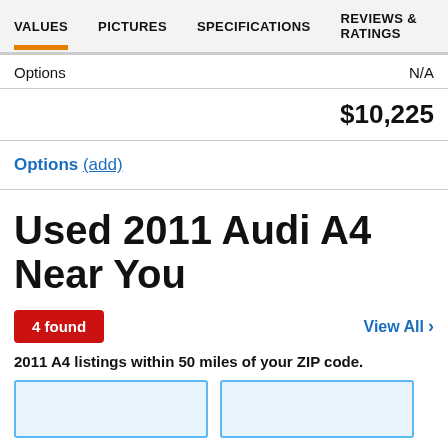VALUES  PICTURES  SPECIFICATIONS  REVIEWS & RATINGS
Options  N/A
$10,225
Options (add)
Used 2011 Audi A4 Near You
4 found
View All >
2011 A4 listings within 50 miles of your ZIP code.
[Figure (other): Two car listing cards with light blue borders, partially visible at bottom of page]